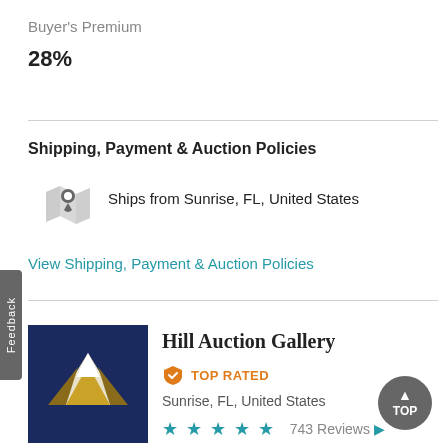Buyer's Premium
28%
Shipping, Payment & Auction Policies
[Figure (infographic): Map location pin icon (grey) with map background]
Ships from Sunrise, FL, United States
View Shipping, Payment & Auction Policies
[Figure (logo): Hill Auction Gallery logo: dark navy blue background with white and gold mountain silhouette]
Hill Auction Gallery
TOP RATED
Sunrise, FL, United States
743 Reviews ▶
Feedback
TOP